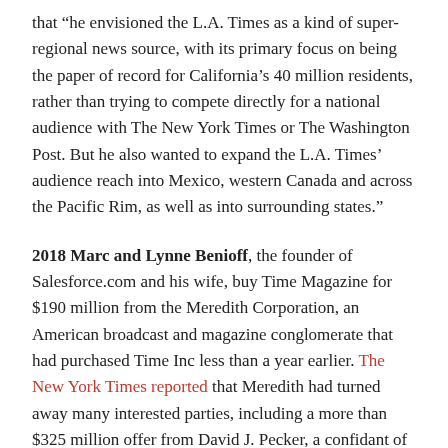that “he envisioned the L.A. Times as a kind of super-regional news source, with its primary focus on being the paper of record for California’s 40 million residents, rather than trying to compete directly for a national audience with The New York Times or The Washington Post. But he also wanted to expand the L.A. Times’ audience reach into Mexico, western Canada and across the Pacific Rim, as well as into surrounding states.”
2018 Marc and Lynne Benioff, the founder of Salesforce.com and his wife, buy Time Magazine for $190 million from the Meredith Corporation, an American broadcast and magazine conglomerate that had purchased Time Inc less than a year earlier. The New York Times reported that Meredith had turned away many interested parties, including a more than $325 million offer from David J. Pecker, a confidant of President Trump and chief executive of American Media Inc., publisher of The National Enquirer. Benioff tweeted, “The power of Time has always been in its unique storytelling of the people & issues that affect us all & connect us all. A treasure trove of our history & culture. We have